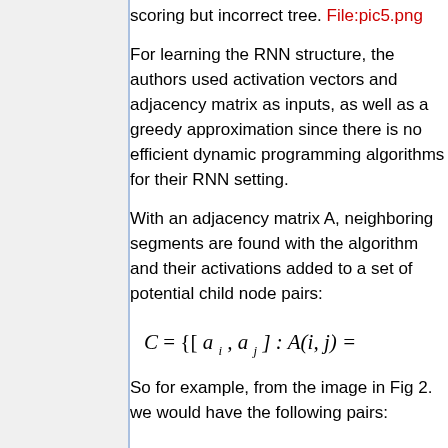scoring but incorrect tree. File:pic5.png
For learning the RNN structure, the authors used activation vectors and adjacency matrix as inputs, as well as a greedy approximation since there is no efficient dynamic programming algorithms for their RNN setting.
With an adjacency matrix A, neighboring segments are found with the algorithm and their activations added to a set of potential child node pairs:
So for example, from the image in Fig 2. we would have the following pairs:
Where these are concatenated and given as inputs into the neural network. Potential parent representations for